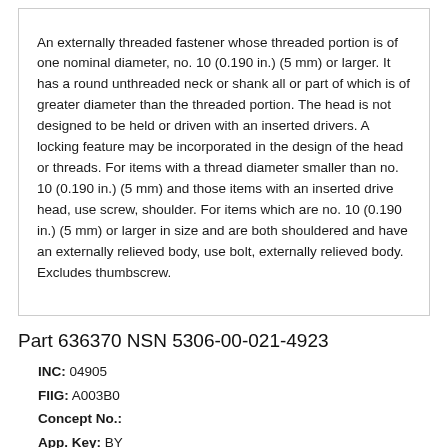An externally threaded fastener whose threaded portion is of one nominal diameter, no. 10 (0.190 in.) (5 mm) or larger. It has a round unthreaded neck or shank all or part of which is of greater diameter than the threaded portion. The head is not designed to be held or driven with an inserted drivers. A locking feature may be incorporated in the design of the head or threads. For items with a thread diameter smaller than no. 10 (0.190 in.) (5 mm) and those items with an inserted drive head, use screw, shoulder. For items which are no. 10 (0.190 in.) (5 mm) or larger in size and are both shouldered and have an externally relieved body, use bolt, externally relieved body. Excludes thumbscrew.
Part 636370 NSN 5306-00-021-4923
INC: 04905
FIIG: A003B0
Concept No.:
App. Key: BY
Cond. Code: 1